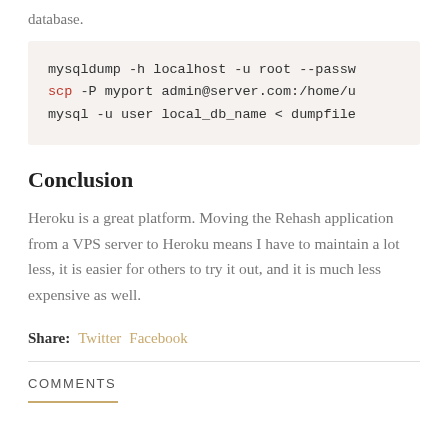database.
mysqldump -h localhost -u root --passw
scp -P myport admin@server.com:/home/u
mysql -u user local_db_name < dumpfile
Conclusion
Heroku is a great platform. Moving the Rehash application from a VPS server to Heroku means I have to maintain a lot less, it is easier for others to try it out, and it is much less expensive as well.
Share: Twitter Facebook
COMMENTS